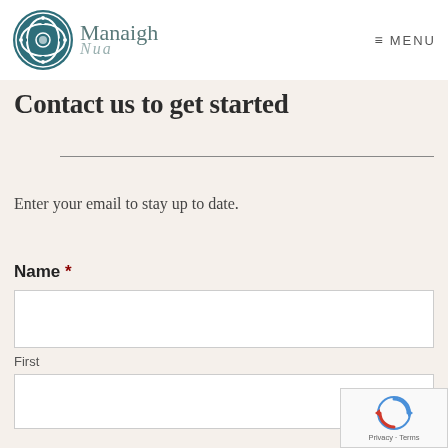[Figure (logo): Manaigh Nua logo with teal circular Celtic knot emblem on the left and stylized text 'Manaigh' with italic 'Nua' on the right]
≡ MENU
Contact us to get started
Enter your email to stay up to date.
Name *
First
[Figure (other): reCAPTCHA badge with spinning arrow icon and 'Privacy - Terms' text]